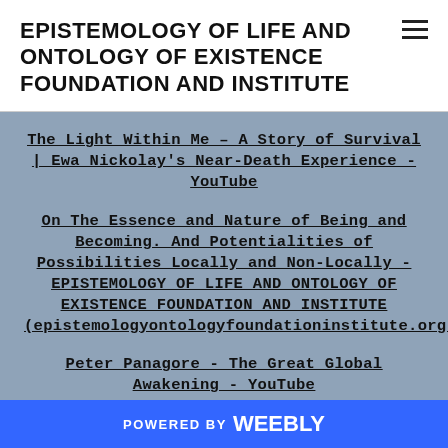EPISTEMOLOGY OF LIFE AND ONTOLOGY OF EXISTENCE FOUNDATION AND INSTITUTE
The Light Within Me – A Story of Survival | Ewa Nickolay's Near-Death Experience - YouTube
On The Essence and Nature of Being and Becoming. And Potentialities of Possibilities Locally and Non-Locally - EPISTEMOLOGY OF LIFE AND ONTOLOGY OF EXISTENCE FOUNDATION AND INSTITUTE (epistemologyontologyfoundationinstitute.org)
Peter Panagore - The Great Global Awakening - YouTube
For natural theologians, proving God
POWERED BY weebly